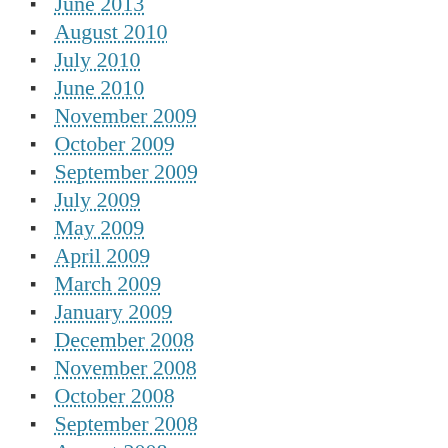June 2013
August 2010
July 2010
June 2010
November 2009
October 2009
September 2009
July 2009
May 2009
April 2009
March 2009
January 2009
December 2008
November 2008
October 2008
September 2008
August 2008